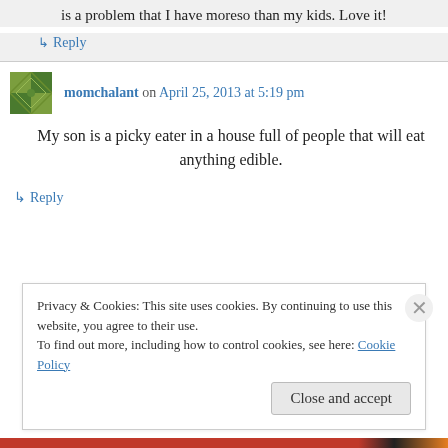is a problem that I have moreso than my kids. Love it!
↳ Reply
momchalant on April 25, 2013 at 5:19 pm
My son is a picky eater in a house full of people that will eat anything edible.
↳ Reply
Privacy & Cookies: This site uses cookies. By continuing to use this website, you agree to their use. To find out more, including how to control cookies, see here: Cookie Policy
Close and accept